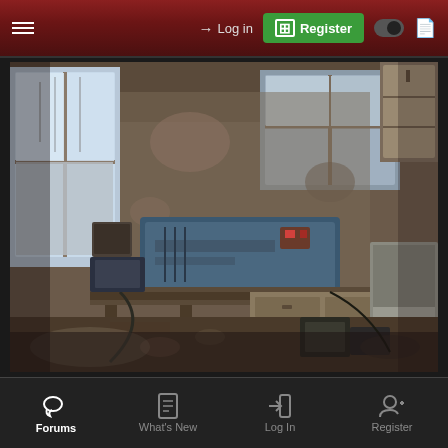≡   → Log in   ⊞ Register
[Figure (photo): Interior of an abandoned room at Hudson State Hospital, showing decayed walls, broken cabinets, scattered debris, an old blue machine/projector on a counter, and deteriorated furniture. Natural light enters through windows showing bare winter trees outside.]
Hudson State Hospital by Dirty Jigsaw, on Flickr
Forums   What's New   Log In   Register